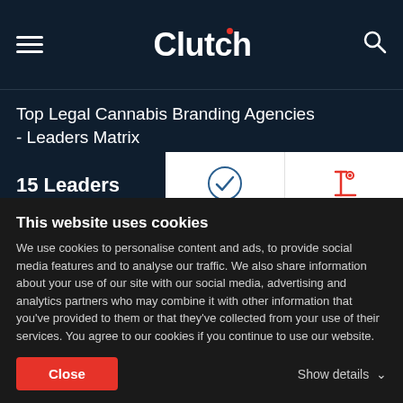Clutch
Top Legal Cannabis Branding Agencies - Leaders Matrix
15 Leaders
Clutch Leaders Matrix
Rollover to see company insights or click a company below
This website uses cookies
We use cookies to personalise content and ads, to provide social media features and to analyse our traffic. We also share information about your use of our site with our social media, advertising and analytics partners who may combine it with other information that you've provided to them or that they've collected from your use of their services. You agree to our cookies if you continue to use our website.
Close
Show details